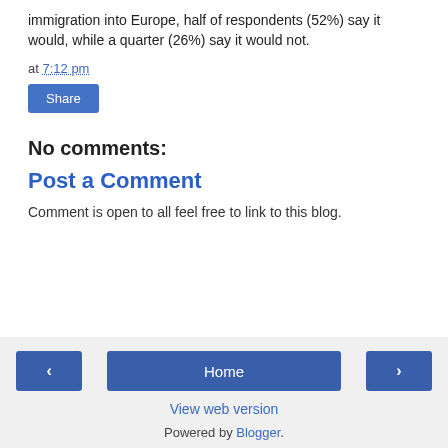immigration into Europe, half of respondents (52%) say it would, while a quarter (26%) say it would not.
at 7:12 pm
Share
No comments:
Post a Comment
Comment is open to all feel free to link to this blog.
< Home > View web version Powered by Blogger.